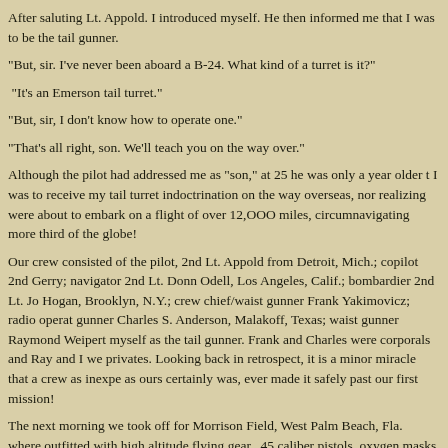After saluting Lt. Appold. I introduced myself. He then informed me that I was to be the tail gunner.
"But, sir. I've never been aboard a B-24. What kind of a turret is it?"
"It's an Emerson tail turret."
"But, sir, I don't know how to operate one."
"That's all right, son. We'll teach you on the way over."
Although the pilot had addressed me as "son," at 25 he was only a year older than I was to receive my tail turret indoctrination on the way overseas, nor realizing we were about to embark on a flight of over 12,000 miles, circumnavigating more than a third of the globe!
Our crew consisted of the pilot, 2nd Lt. Appold from Detroit, Mich.; copilot 2nd Gerry; navigator 2nd Lt. Donn Odell, Los Angeles, Calif.; bombardier 2nd Lt. Jo Hogan, Brooklyn, N.Y.; crew chief/waist gunner Frank Yakimovicz; radio operator gunner Charles S. Anderson, Malakoff, Texas; waist gunner Raymond Weipert myself as the tail gunner. Frank and Charles were corporals and Ray and I were privates. Looking back in retrospect, it is a minor miracle that a crew as inexpe as ours certainly was, ever made it safely past our first mission!
The next morning we took off for Morrison Field, West Palm Beach, Fla. where outfitted with high altitude flying gear, .45 caliber pistols, oxygen masks and ma
Two days later, with an ominous sky overhead, we took off, ostensibly for Sout America. However, we encountered a fierce Atlantic storm and as skillful and resourceful a pilot as Norman Appold was, we just couldn't make headway thro rain, sleet, and hurricane winds generated by the storm. So reluctantly, Lt App